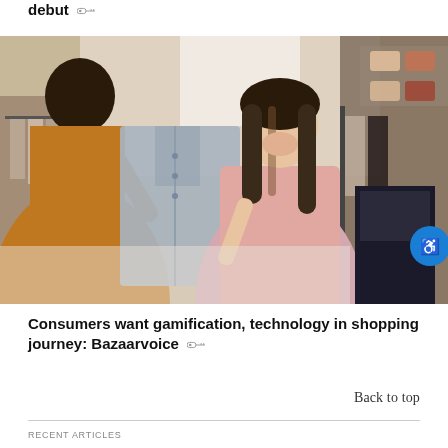debut
[Figure (photo): A smiling Asian female store associate handing a grey button-up shirt to a customer in a clothing retail store. Racks of clothing and shoes visible in the background.]
Consumers want gamification, technology in shopping journey: Bazaarvoice
Back to top
RECENT ARTICLES